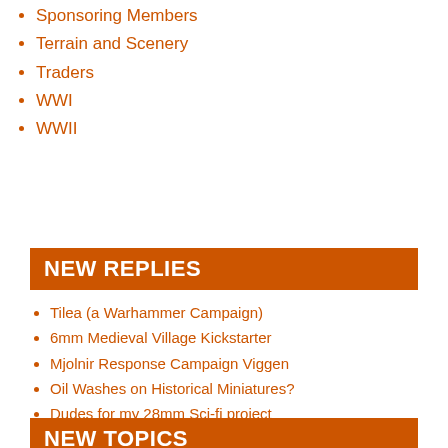Sponsoring Members
Terrain and Scenery
Traders
WWI
WWII
NEW REPLIES
Tilea (a Warhammer Campaign)
6mm Medieval Village Kickstarter
Mjolnir Response Campaign Viggen
Oil Washes on Historical Miniatures?
Dudes for my 28mm Sci-fi project
Could there be a GW range of minis for Rings of Power?
New Acrylic Templates – Kiss Me Hardy
The Battle of Savo Island, 9th August 1942, in 1/3000
The First Carlist War in 15mm
Operation Watchtower. 80th Annv. of Guadalcanal Campaign Game.
NEW TOPICS